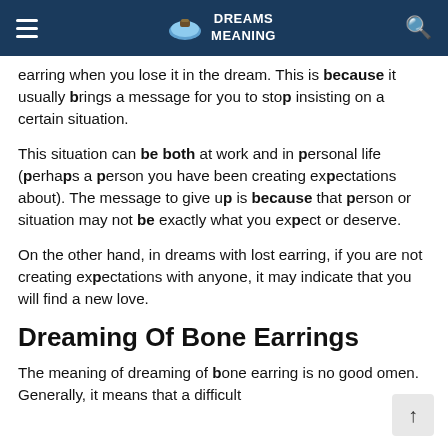DREAMS MEANING
earring when you lose it in the dream. This is because it usually brings a message for you to stop insisting on a certain situation.
This situation can be both at work and in personal life (perhaps a person you have been creating expectations about). The message to give up is because that person or situation may not be exactly what you expect or deserve.
On the other hand, in dreams with lost earring, if you are not creating expectations with anyone, it may indicate that you will find a new love.
Dreaming Of Bone Earrings
The meaning of dreaming of bone earring is no good omen. Generally, it means that a difficult